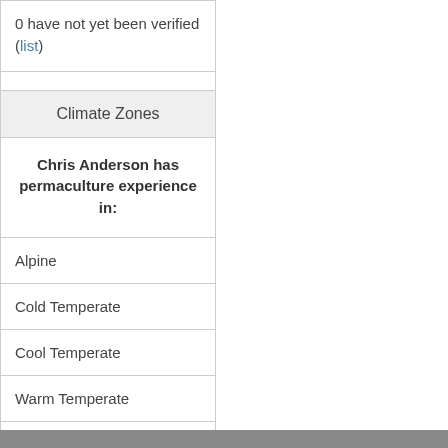0 have not yet been verified (list)
Climate Zones
Chris Anderson has permaculture experience in:
Alpine
Cold Temperate
Cool Temperate
Warm Temperate
Arid